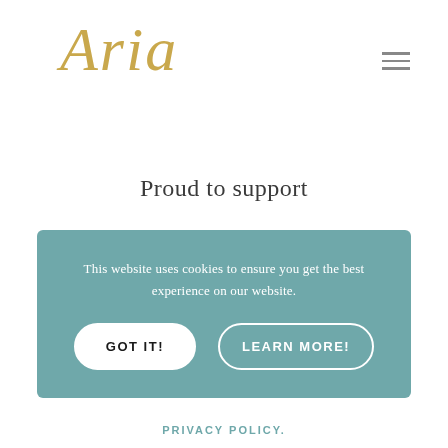[Figure (logo): Aria brand logo in gold cursive/script font]
Proud to support
This website uses cookies to ensure you get the best experience on our website.
GOT IT!
LEARN MORE!
PRIVACY POLICY.